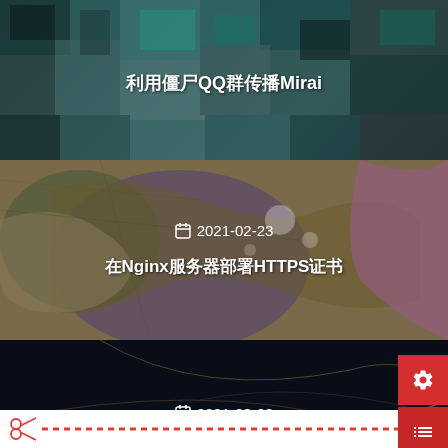[Figure (screenshot): Blog card 1 with colorful mosaic/block background, title text in Chinese and English: 利用僵尸QQ群传播Mirai]
利用僵尸QQ群传播Mirai
[Figure (screenshot): Blog card 2 with map/texture background, date 2021-02-23, title text in Chinese: 在Nginx服务器部署HTTPS证书]
📅 2021-02-23
在Nginx服务器部署HTTPS证书
[Figure (screenshot): Blog card 3 with dark fiber optic background, date 2021-03-23, title text in Chinese: QQ机器人搭建教程]
📅 2021-03-23
QQ机器人搭建教程
[Figure (other): Red floating action buttons: settings gear, list/menu, chat bubble, arrow up]
[Figure (other): Red scissors icon followed by red dashed line divider at bottom of page]